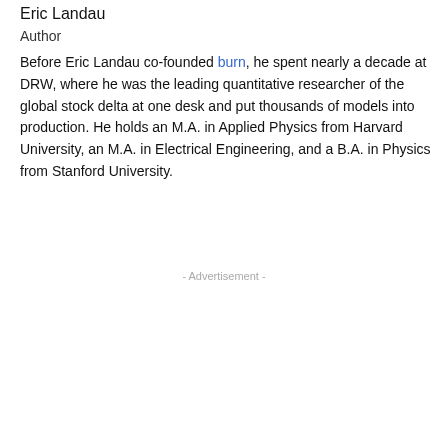Eric Landau
Author
Before Eric Landau co-founded burn, he spent nearly a decade at DRW, where he was the leading quantitative researcher of the global stock delta at one desk and put thousands of models into production. He holds an M.A. in Applied Physics from Harvard University, an M.A. in Electrical Engineering, and a B.A. in Physics from Stanford University.
- Advertisement -